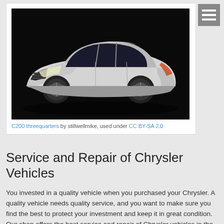[Figure (photo): White Chrysler C200 sedan photographed from three-quarter front angle against a dark background]
C200 threequarters by stillwellmike, used under CC BY-SA 2.0
Service and Repair of Chrysler Vehicles
You invested in a quality vehicle when you purchased your Chrysler. A quality vehicle needs quality service, and you want to make sure you find the best to protect your investment and keep it in great condition. Our shop offers the best service and repair of Chrysler vehicles in the area. Give us a call to put our talented team and years of experience to the test.
Our dedicated technicians go above and beyond to exceed your